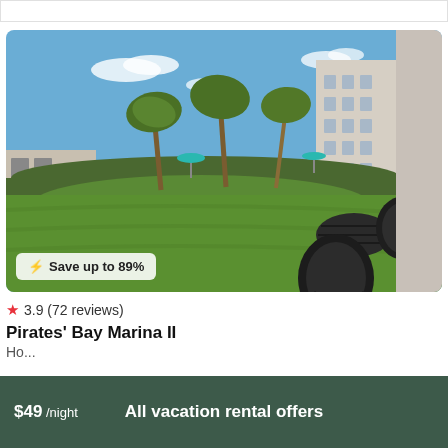[Figure (photo): Outdoor photo of Pirates' Bay Marina II showing a curved green lawn, tropical palm trees, hedgerow, patio furniture (chairs and a round table) in the foreground right, and a multi-story building with balconies on the right side, under a clear blue sky with light clouds. Two teal umbrellas visible in background.]
⚡ Save up to 89%
★ 3.9 (72 reviews)
Pirates' Bay Marina II
Ho...
$49 /night
All vacation rental offers